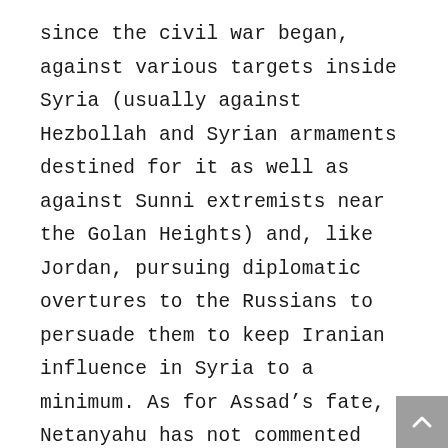since the civil war began, against various targets inside Syria (usually against Hezbollah and Syrian armaments destined for it as well as against Sunni extremists near the Golan Heights) and, like Jordan, pursuing diplomatic overtures to the Russians to persuade them to keep Iranian influence in Syria to a minimum. As for Assad's fate, Netanyahu has not commented directly on it, although from his perspective it probably does not matter who rules Syria as long as the regime keeps Iran at a distance and does not allow Sunni extremists to cause trouble near the Golan Heights. For his part, Assad has not been willing or able to meet these demands, and